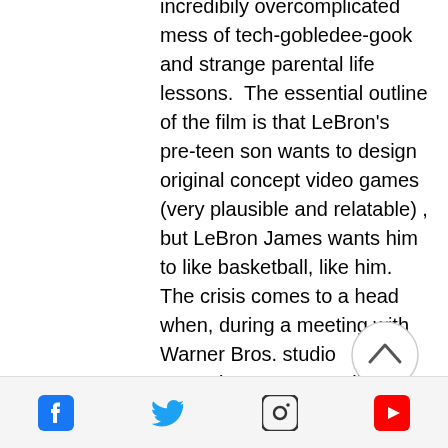incredibily overcomplicated mess of tech-gobledee-gook and strange parental life lessons.  The essential outline of the film is that LeBron's pre-teen son wants to design original concept video games (very plausible and relatable) , but LeBron James wants him to like basketball, like him.  The crisis comes to a head when, during a meeting with Warner Bros. studio executives, LeBron tells his son that he cannot go to computer-game camp and has to go to basketball camp.  LeBron then follows his son into the Warner Bros. computer server room where both are sucked into the internet or something and digitized by a malevolent
[Figure (other): Circular scroll-to-top button with upward chevron arrow]
Facebook, Twitter, Instagram, YouTube social media icons